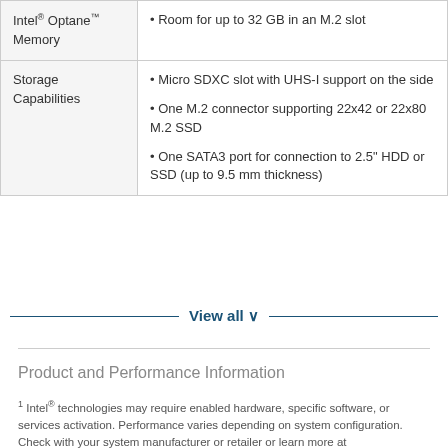| Feature | Details |
| --- | --- |
| Intel® Optane™ Memory | • Room for up to 32 GB in an M.2 slot |
| Storage Capabilities | • Micro SDXC slot with UHS-I support on the side
• One M.2 connector supporting 22x42 or 22x80 M.2 SSD
• One SATA3 port for connection to 2.5" HDD or SSD (up to 9.5 mm thickness) |
View all ∨
Product and Performance Information
1 Intel® technologies may require enabled hardware, specific software, or services activation. Performance varies depending on system configuration. Check with your system manufacturer or retailer or learn more at intel.in/optanememory.